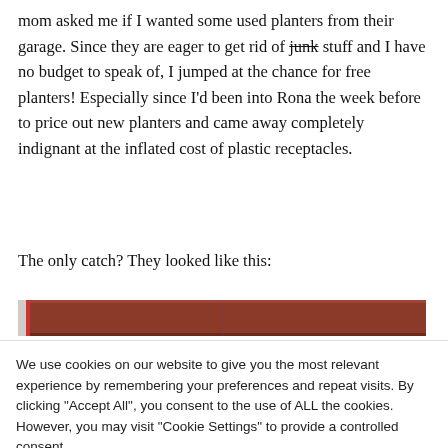mom asked me if I wanted some used planters from their garage. Since they are eager to get rid of junk stuff and I have no budget to speak of, I jumped at the chance for free planters! Especially since I'd been into Rona the week before to price out new planters and came away completely indignant at the inflated cost of plastic receptacles.
The only catch? They looked like this:
[Figure (photo): Partial photo showing what appears to be a dark reddish-brown wooden planter or board, cropped at the bottom of the visible page area.]
We use cookies on our website to give you the most relevant experience by remembering your preferences and repeat visits. By clicking "Accept All", you consent to the use of ALL the cookies. However, you may visit "Cookie Settings" to provide a controlled consent.